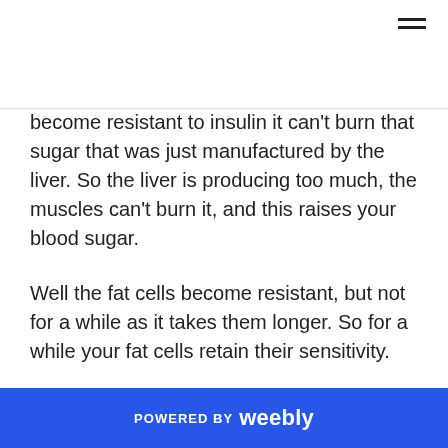become resistant to insulin it can't burn that sugar that was just manufactured by the liver. So the liver is producing too much, the muscles can't burn it, and this raises your blood sugar.
Well the fat cells become resistant, but not for a while as it takes them longer. So for a while your fat cells retain their sensitivity.
What is the action of insulin on your fat cells? To store that fat. It takes sugar and it stores it as fat. So until your fat cells become resistant you get fat. As people become
POWERED BY weebly